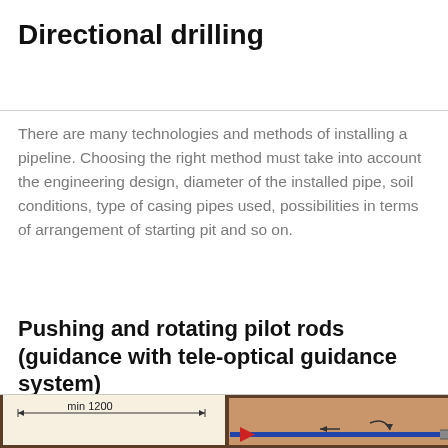Directional drilling
There are many technologies and methods of installing a pipeline. Choosing the right method must take into account the engineering design, diameter of the installed pipe, soil conditions, type of casing pipes used, possibilities in terms of arrangement of starting pit and so on.
Pushing and rotating pilot rods (guidance with tele-optical guidance system)
[Figure (engineering-diagram): Engineering cross-section diagram showing directional drilling setup with underground pilot rod, labeled dimension 'min 1200', showing soil layers and drilling direction with arrow indicators and red drill head.]